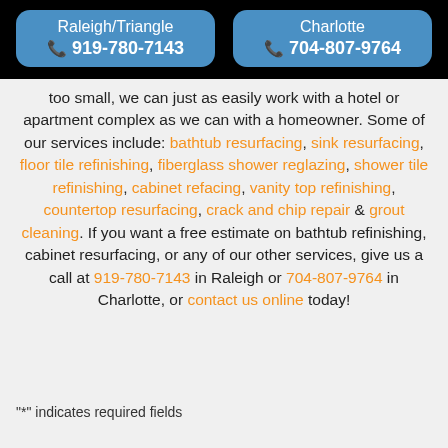Raleigh/Triangle 919-780-7143 | Charlotte 704-807-9764
too small, we can just as easily work with a hotel or apartment complex as we can with a homeowner. Some of our services include: bathtub resurfacing, sink resurfacing, floor tile refinishing, fiberglass shower reglazing, shower tile refinishing, cabinet refacing, vanity top refinishing, countertop resurfacing, crack and chip repair & grout cleaning. If you want a free estimate on bathtub refinishing, cabinet resurfacing, or any of our other services, give us a call at 919-780-7143 in Raleigh or 704-807-9764 in Charlotte, or contact us online today!
"*" indicates required fields